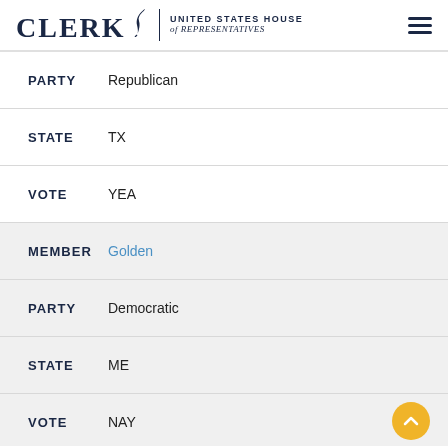CLERK United States House of Representatives
PARTY Republican
STATE TX
VOTE YEA
MEMBER Golden
PARTY Democratic
STATE ME
VOTE NAY